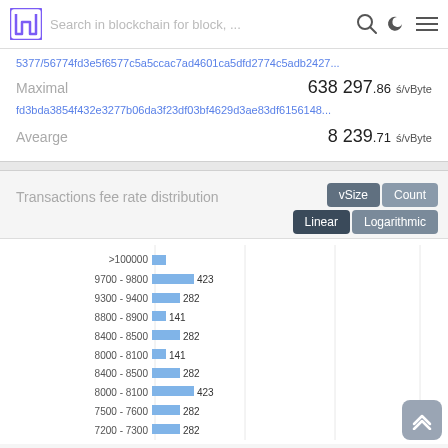Search in blockchain for block, ...
5577/56774fd3e5f6577c5a5ccac7ad4601ca5dfd2774c5adb2427...
Maximal   638 297.86 ś/vByte
fd3bda3854f432e3277b06da3f23df03bf4629d3ae83df6156148...
Avearge   8 239.71 ś/vByte
Transactions fee rate distribution
[Figure (histogram): Transactions fee rate distribution]